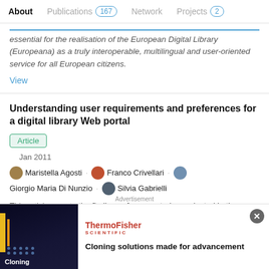About  Publications 167  Network  Projects 2
essential for the realisation of the European Digital Library (Europeana) as a truly interoperable, multilingual and user-oriented service for all European citizens.
View
Understanding user requirements and preferences for a digital library Web portal
Article
Jan 2011
Maristella Agosti · Franco Crivellari · Giorgio Maria Di Nunzio · Silvia Gabrielli
This article reports the findings of a user study conducted in the context of the TELplus project to gain insights about user needs
[Figure (other): Advertisement banner for ThermoFisher Scientific showing Cloning solutions made for advancement]
Advertisement
Cloning solutions made for advancement